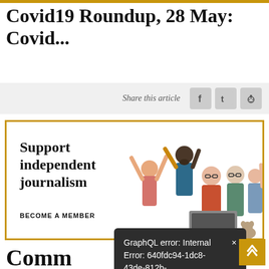Covid19 Roundup, 28 May: Covid...
Share this article
[Figure (illustration): Advertisement banner: Support independent journalism - BECOME A MEMBER, with cartoon illustration of diverse group of people celebrating around a laptop]
Comm
GraphQL error: Internal Error: 640fdc94-1dc8-43de-812b-7f88129bf6c6 ×